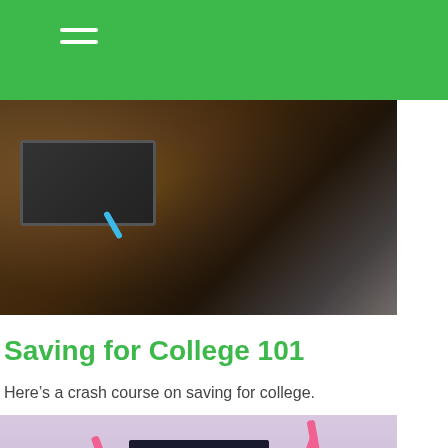[Figure (photo): A student in a lecture hall with a laptop on the desk, dark wooden seating visible, blue headphones or cord visible, slightly blurred background]
Saving for College 101
Here’s a crash course on saving for college.
[Figure (photo): A budgeting book with pink ribbons or bookmarks against a lavender/pink background, book title reads BUDGETING]